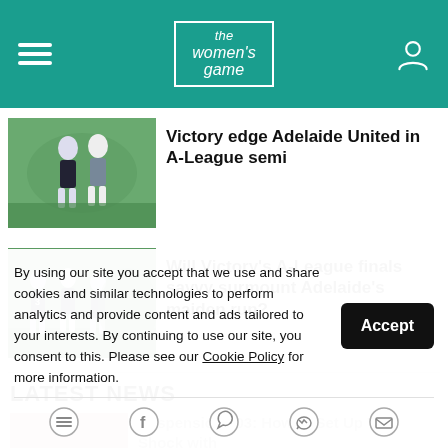the women's game
Victory edge Adelaide United in A-League semi
[Figure (photo): Female soccer players celebrating, one in white and one in dark blue uniform]
Will Victory's A-League finals savvy surmount Adelaide's maiden run?
[Figure (photo): Female soccer players on green field in dark blue uniforms]
LATEST NEWS
Suspension 103: How to Set Up Your Shock with
By using our site you accept that we use and share cookies and similar technologies to perform analytics and provide content and ads tailored to your interests. By continuing to use our site, you consent to this. Please see our Cookie Policy for more information.